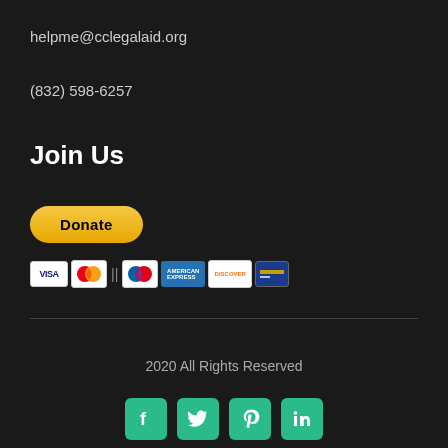helpme@cclegalaid.org
(832) 598-6257
Join Us
[Figure (infographic): PayPal Donate button with payment method icons below it (Visa, Mastercard, American Express, Discover, and another card)]
2020 All Rights Reserved
[Figure (infographic): Social media icons row: Facebook, Twitter, Pinterest, LinkedIn — each in a teal rounded square button]